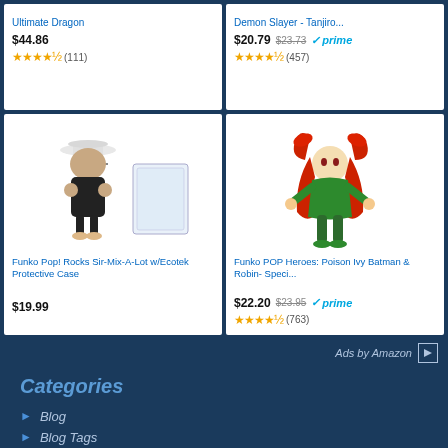[Figure (screenshot): Top-left product card partial: Ultimate Dragon - $44.86, 4.5 stars (111 reviews)]
[Figure (screenshot): Top-right product card partial: Demon Slayer - Tanjiro... - $20.79 was $23.73, Prime badge, 4.5 stars (457 reviews)]
[Figure (photo): Funko Pop! Rocks Sir-Mix-A-Lot figure with Ecotek Protective Case]
Funko Pop! Rocks Sir-Mix-A-Lot w/Ecotek Protective Case
$19.99
[Figure (photo): Funko POP Heroes: Poison Ivy Batman & Robin Special figure]
Funko POP Heroes: Poison Ivy Batman & Robin- Speci...
$22.20 $23.95 prime (763 reviews)
Ads by Amazon
Categories
Blog
Blog Tags